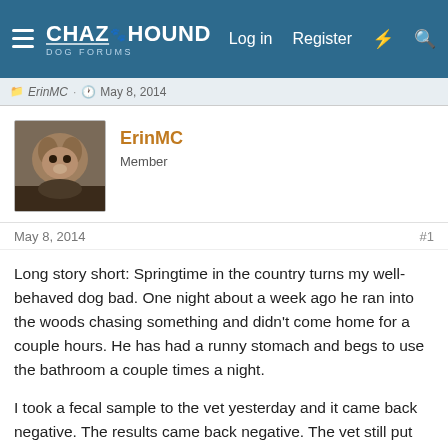ChaZ Hound Dog Forums — Log in  Register
ErinMC · May 8, 2014
ErinMC
Member
May 8, 2014
#1
Long story short: Springtime in the country turns my well-behaved dog bad. One night about a week ago he ran into the woods chasing something and didn't come home for a couple hours. He has had a runny stomach and begs to use the bathroom a couple times a night.
I took a fecal sample to the vet yesterday and it came back negative. The results came back negative. The vet still put Leo on some meds to combat his loose stool rather than dealing with it for the next couple weeks while waiting for a more conclusive fecal sample.
He is now on an antibiotic, de-wormer, anti-diarrhea. This seems